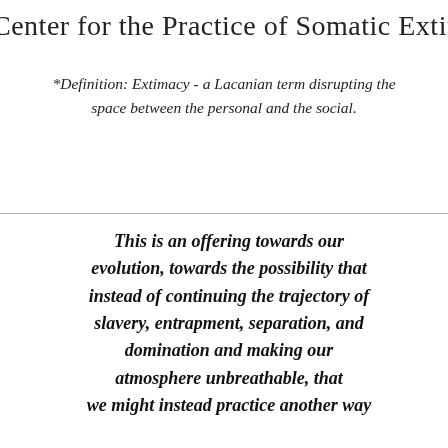Center for the Practice of Somatic Extimacy
*Definition: Extimacy - a Lacanian term disrupting the space between the personal and the social.
This is an offering towards our evolution, towards the possibility that instead of continuing the trajectory of slavery, entrapment, separation, and domination and making our atmosphere unbreathable, that we might instead practice another way